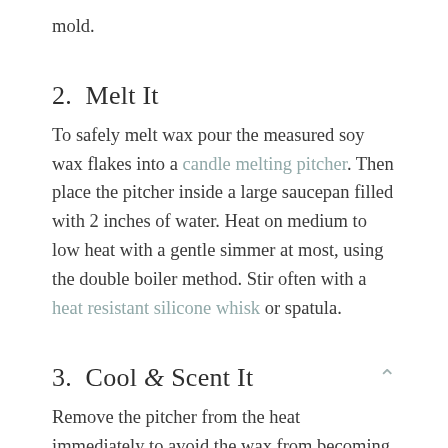mold.
2.  Melt It
To safely melt wax pour the measured soy wax flakes into a candle melting pitcher. Then place the pitcher inside a large saucepan filled with 2 inches of water. Heat on medium to low heat with a gentle simmer at most, using the double boiler method. Stir often with a heat resistant silicone whisk or spatula.
3.  Cool & Scent It
Remove the pitcher from the heat immediately to avoid the wax from becoming too hot after melting. Clip a candle thermometer inside of the pitcher to watch the wax cool 125°F to 120°F.